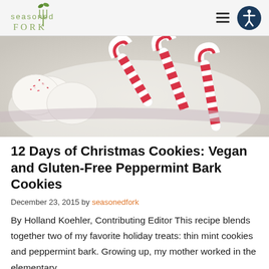Seasoned Fork
[Figure (photo): Close-up photo of white chocolate peppermint bark cookies and candy canes on a white plate]
12 Days of Christmas Cookies: Vegan and Gluten-Free Peppermint Bark Cookies
December 23, 2015 by seasonedfork
By Holland Koehler, Contributing Editor This recipe blends together two of my favorite holiday treats: thin mint cookies and peppermint bark. Growing up, my mother worked in the elementary …